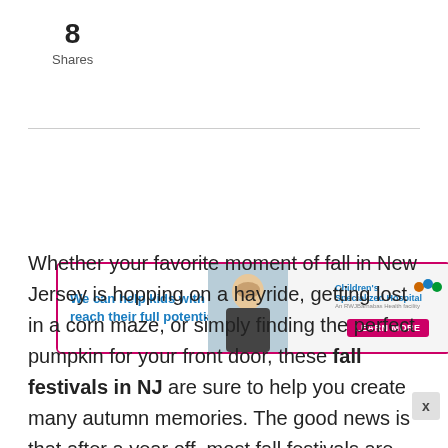8
Shares
[Figure (infographic): Advertisement banner for Children's Specialized Hospital. Left side shows bold blue text 'We can help kids with autism reach their full potential.' with a photo of a child. Right side shows the Children's Specialized Hospital logo with a pink 'LEARN MORE' button.]
Whether your favorite moment of fall in New Jersey is hopping on a hayride, getting lost in a corn maze, or simply finding the perfect pumpkin for your front door, these fall festivals in NJ are sure to help you create many autumn memories. The good news is that after a year off, most fall festivals are back on, including the ...